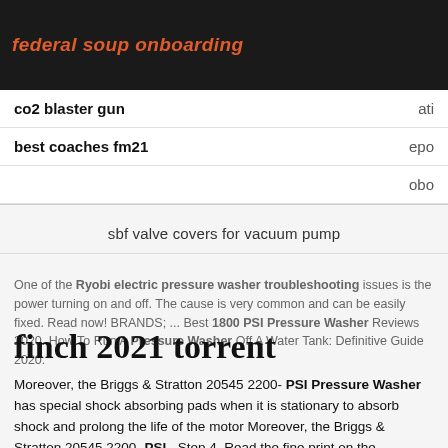federal soup onboarding
| co2 blaster gun | ati |
| best coaches fm21 | epo |
|  | obo |
sbf valve covers for vacuum pump
One of the Ryobi electric pressure washer troubleshooting issues is the power turning on and off. The cause is very common and can be easily fixed. Read now! BRANDS; ... Best 1800 PSI Pressure Washer Reviews 2020. How To Run A Pressure Washer Off A Water Tank: Definitive Guide 2020.
finch 2021 torrent
Moreover, the Briggs & Stratton 20545 2200- PSI Pressure Washer has special shock absorbing pads when it is stationary to absorb shock and prolong the life of the motor Moreover, the Briggs & Stratton 20545 2200- PSI . Step 4. Read the fine print on the extension cord to verify that you are using the correct type.
By cessna 172 carb heat box and unreal 5 course